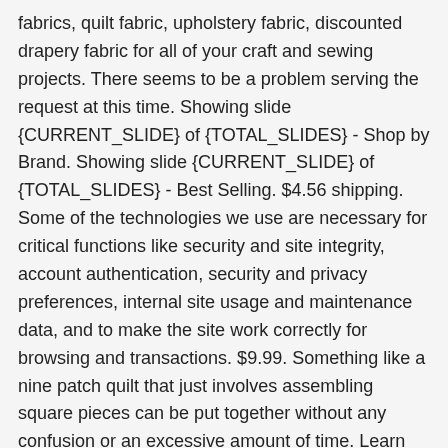fabrics, quilt fabric, upholstery fabric, discounted drapery fabric for all of your craft and sewing projects. There seems to be a problem serving the request at this time. Showing slide {CURRENT_SLIDE} of {TOTAL_SLIDES} - Shop by Brand. Showing slide {CURRENT_SLIDE} of {TOTAL_SLIDES} - Best Selling. $4.56 shipping. Some of the technologies we use are necessary for critical functions like security and site integrity, account authentication, security and privacy preferences, internal site usage and maintenance data, and to make the site work correctly for browsing and transactions. $9.99. Something like a nine patch quilt that just involves assembling square pieces can be put together without any confusion or an excessive amount of time. Learn more. 5 out of 5 stars (97) 97 reviews $ 49.99. Vintage Holiday 2 Quilt Kit 58" x 72 ... Delightful Desert Kit with Terrarium Fabrics £ 375.00. Another thing to keep in mind is that fabrics may be different in vintage quilt kits. Top Rated Plus. We know the pleasure, contentment and sense of accomplishment you feel when you quilt, our quilt kit includes all fabrics required for the